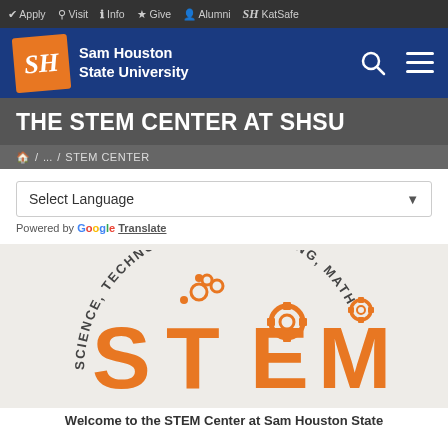✔ Apply  ⚲ Visit  ℹ Info  ★ Give  👤 Alumni  SH KatSafe
[Figure (logo): Sam Houston State University logo with orange SH box and white university name text on blue navigation bar]
THE STEM CENTER AT SHSU
🏠 / ... / STEM CENTER
Select Language
Powered by Google Translate
[Figure (logo): STEM Center logo: circular arc text reading SCIENCE, TECHNOLOGY, ENGINEERING, MATH above large orange STEM letters with gear and science iconography incorporated into the letters]
Welcome to the STEM Center at Sam Houston State